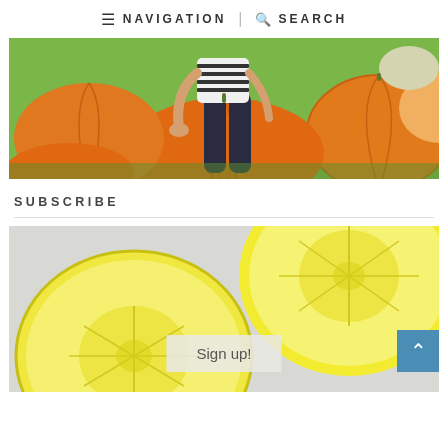≡ NAVIGATION | 🔍 SEARCH
[Figure (photo): Person sitting among large orange pumpkins in a pumpkin patch, wearing a striped top and dark jeans]
SUBSCRIBE
[Figure (photo): Close-up of sliced lemon halves on a light grey background]
Sign up!